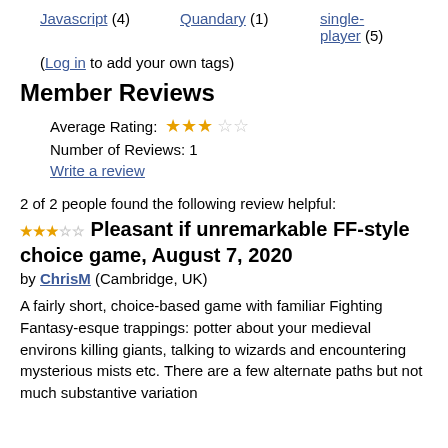Javascript (4)
Quandary (1)
single-player (5)
(Log in to add your own tags)
Member Reviews
Average Rating: ★★★☆☆
Number of Reviews: 1
Write a review
2 of 2 people found the following review helpful:
★★★☆☆ Pleasant if unremarkable FF-style choice game, August 7, 2020
by ChrisM (Cambridge, UK)
A fairly short, choice-based game with familiar Fighting Fantasy-esque trappings: potter about your medieval environs killing giants, talking to wizards and encountering mysterious mists etc. There are a few alternate paths but not much substantive variation